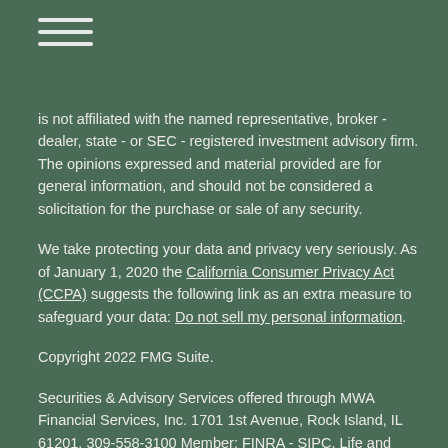≡ (hamburger menu icon)
is not affiliated with the named representative, broker - dealer, state - or SEC - registered investment advisory firm. The opinions expressed and material provided are for general information, and should not be considered a solicitation for the purchase or sale of any security.
We take protecting your data and privacy very seriously. As of January 1, 2020 the California Consumer Privacy Act (CCPA) suggests the following link as an extra measure to safeguard your data: Do not sell my personal information.
Copyright 2022 FMG Suite.
Securities & Advisory Services offered through MWA Financial Services, Inc. 1701 1st Avenue, Rock Island, IL 61201. 309-558-3100 Member: FINRA - SIPC. Life and Annuity products offered through Modern Woodmen of